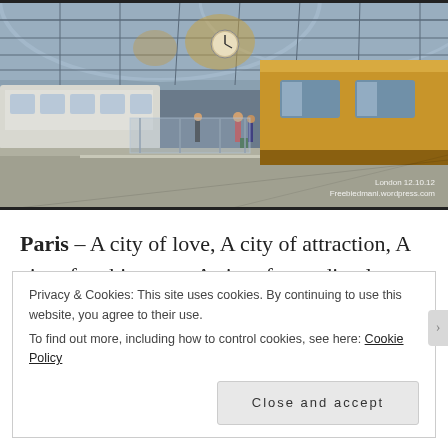[Figure (photo): Interior of a large train station (London St Pancras) with a glass roof ceiling, a yellow/orange train carriage on the right, a platform with people walking, and another white train on the left. Watermark reads: London 12.10.12 Freebiedmani.wordpress.com]
Paris – A city of love, A city of attraction, A city of architecture, A city of unending long queues, A city full of
Privacy & Cookies: This site uses cookies. By continuing to use this website, you agree to their use.
To find out more, including how to control cookies, see here: Cookie Policy
Close and accept